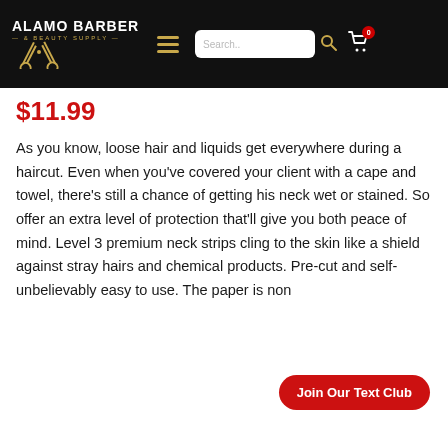[Figure (logo): Alamo Barber & Beauty Supply logo with scissors graphic, white text on black background, gold accent color]
$11.99
As you know, loose hair and liquids get everywhere during a haircut. Even when you've covered your client with a cape and towel, there's still a chance of getting his neck wet or stained. So offer an extra level of protection that'll give you both peace of mind. Level 3 premium neck strips cling to the skin like a shield against stray hairs and chemical products. Pre-cut and self- unbelievably easy to use. The paper is non
Join Our Text Club